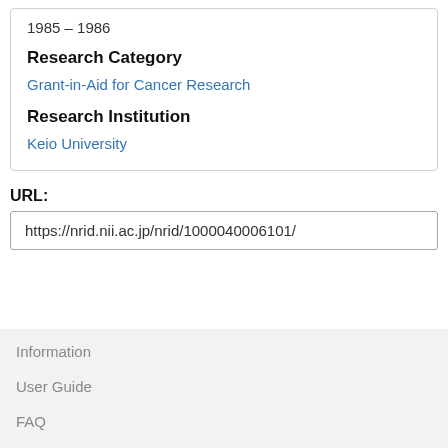1985 – 1986
Research Category
Grant-in-Aid for Cancer Research
Research Institution
Keio University
URL:
https://nrid.nii.ac.jp/nrid/1000040006101/
Information
User Guide
FAQ